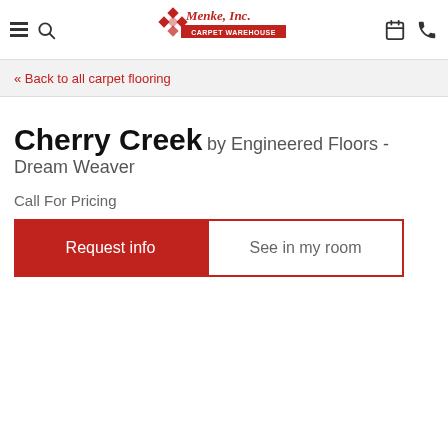Menke, Inc. Carpet Warehouse — navigation header with hamburger menu, search, logo, calendar, phone icons
« Back to all carpet flooring
Cherry Creek by Engineered Floors - Dream Weaver
Call For Pricing
Request info | See in my room